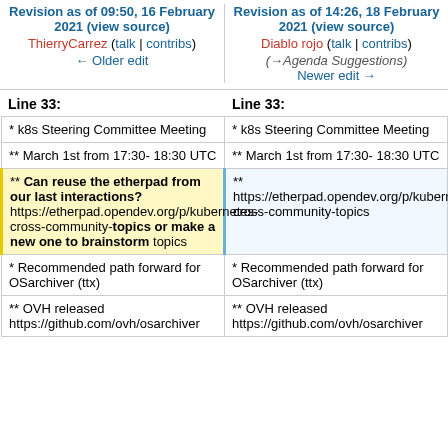Revision as of 09:50, 16 February 2021 (view source) ThierryCarrez (talk | contribs) ← Older edit | Revision as of 14:26, 18 February 2021 (view source) Diablo rojo (talk | contribs) (→Agenda Suggestions) Newer edit →
Line 33: | Line 33:
| Left | Right |
| --- | --- |
| * k8s Steering Committee Meeting | * k8s Steering Committee Meeting |
| ** March 1st from 17:30- 18:30 UTC | ** March 1st from 17:30- 18:30 UTC |
| ** Can reuse the etherpad from our last interactions? https://etherpad.opendev.org/p/kubernetes-cross-community-topics or make a new one to brainstorm topics | ** https://etherpad.opendev.org/p/kubernetes-cross-community-topics |
| * Recommended path forward for OSarchiver (ttx) | * Recommended path forward for OSarchiver (ttx) |
| ** OVH released https://github.com/ovh/osarchiver | ** OVH released https://github.com/ovh/osarchiver |